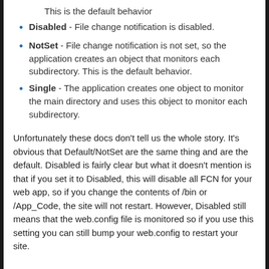This is the default behavior
Disabled - File change notification is disabled.
NotSet - File change notification is not set, so the application creates an object that monitors each subdirectory. This is the default behavior.
Single - The application creates one object to monitor the main directory and uses this object to monitor each subdirectory.
Unfortunately these docs don't tell us the whole story. It's obvious that Default/NotSet are the same thing and are the default. Disabled is fairly clear but what it doesn't mention is that if you set it to Disabled, this will disable all FCN for your web app, so if you change the contents of /bin or /App_Code, the site will not restart. However, Disabled still means that the web.config file is monitored so if you use this setting you can still bump your web.config to restart your site.